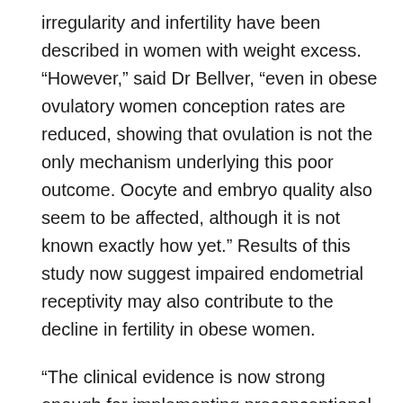irregularity and infertility have been described in women with weight excess. “However,” said Dr Bellver, “even in obese ovulatory women conception rates are reduced, showing that ovulation is not the only mechanism underlying this poor outcome. Oocyte and embryo quality also seem to be affected, although it is not known exactly how yet.” Results of this study now suggest impaired endometrial receptivity may also contribute to the decline in fertility in obese women.
“The clinical evidence is now strong enough for implementing preconceptional health policies for obese patients considering assisted reproduction,” said Dr Bellver. The control of excess weight, especially through lifestyle interventions, should be mandatory not only for improving reproductive and obstetric outcomes, but also for reducing costs derived from the greater consumption of drugs in IVF, failed treatments, maternal and neonatal complications, and